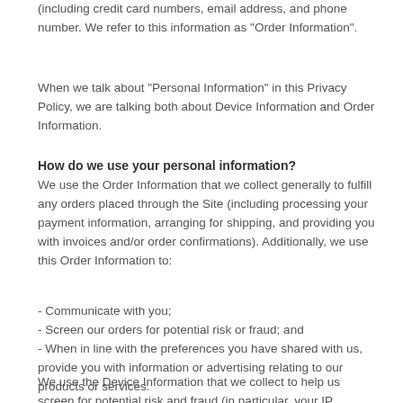(including credit card numbers, email address, and phone number. We refer to this information as “Order Information”.
When we talk about “Personal Information” in this Privacy Policy, we are talking both about Device Information and Order Information.
How do we use your personal information?
We use the Order Information that we collect generally to fulfill any orders placed through the Site (including processing your payment information, arranging for shipping, and providing you with invoices and/or order confirmations). Additionally, we use this Order Information to:
- Communicate with you;
- Screen our orders for potential risk or fraud; and
- When in line with the preferences you have shared with us, provide you with information or advertising relating to our products or services.
We use the Device Information that we collect to help us screen for potential risk and fraud (in particular, your IP address), and more generally to improve and